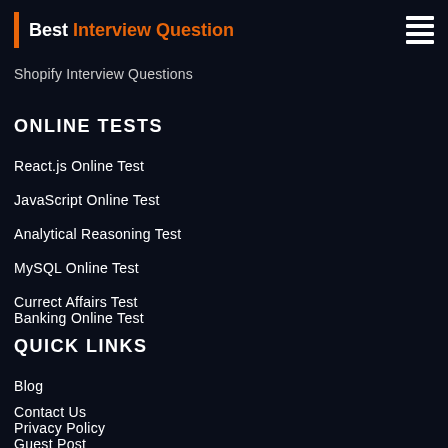Best Interview Question
Shopify Interview Questions
ONLINE TESTS
React.js Online Test
JavaScript Online Test
Analytical Reasoning Test
MySQL Online Test
Currect Affairs Test
Banking Online Test
QUICK LINKS
Blog
Contact Us
Privacy Policy
Guest Post